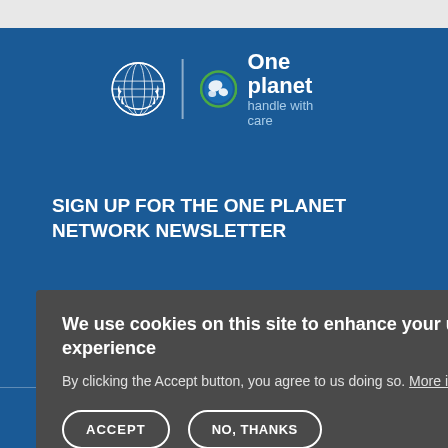[Figure (logo): UN logo (white wreath/globe) and One Planet 'handle with care' logo with globe icon on blue background]
SIGN UP FOR THE ONE PLANET NETWORK NEWSLETTER
for updates from the One Planet network, the implementation mechanism for SDG 12.
We use cookies on this site to enhance your user experience
By clicking the Accept button, you agree to us doing so. More info
ACCEPT
NO, THANKS
PAGES